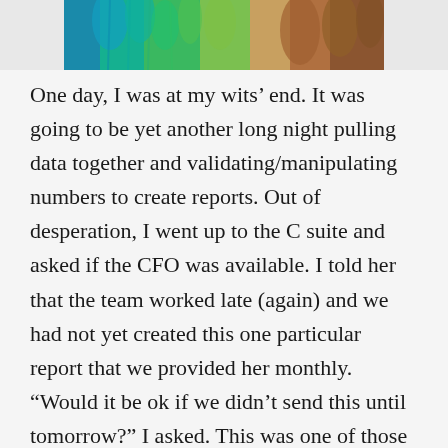[Figure (photo): Partial photograph showing colorful fur or feathers in teal, green, and brown tones, cropped at top of page]
One day, I was at my wits' end. It was going to be yet another long night pulling data together and validating/manipulating numbers to create reports. Out of desperation, I went up to the C suite and asked if the CFO was available. I told her that the team worked late (again) and we had not yet created this one particular report that we provided her monthly. “Would it be ok if we didn’t send this until tomorrow?” I asked. This was one of those reports that was a bear. It took a couple of